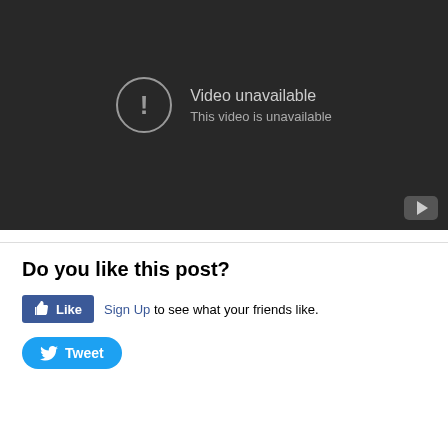[Figure (screenshot): Embedded YouTube video player showing 'Video unavailable - This video is unavailable' error message on dark background with YouTube play button icon in bottom right corner]
Do you like this post?
[Figure (other): Facebook Like button followed by 'Sign Up to see what your friends like.' text]
[Figure (other): Twitter Tweet button]